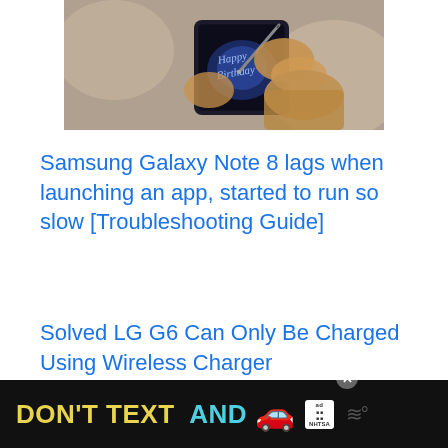[Figure (photo): Person's hand holding a Samsung Galaxy Note 8 and writing 'Happy Birthday' with the S Pen stylus on the screen.]
Samsung Galaxy Note 8 lags when launching an app, started to run so slow [Troubleshooting Guide]
Solved LG G6 Can Only Be Charged Using Wireless Charger
[Figure (infographic): Advertisement banner: DON'T TEXT AND [car emoji] with ad badge and NHTSA logo on dark background.]